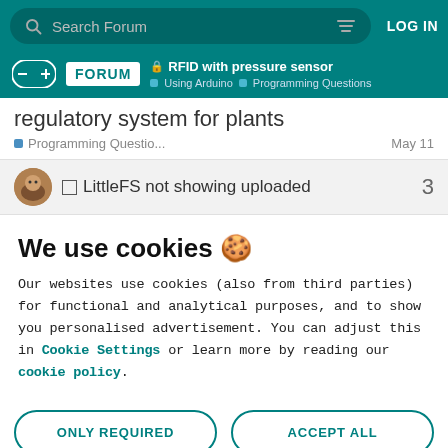Search Forum   LOG IN
FORUM   RFID with pressure sensor   Using Arduino  Programming Questions
regulatory system for plants
Programming Questio...   May 11
LittleFS not showing uploaded   3
We use cookies 🍪
Our websites use cookies (also from third parties) for functional and analytical purposes, and to show you personalised advertisement. You can adjust this in Cookie Settings or learn more by reading our cookie policy.
ONLY REQUIRED
ACCEPT ALL